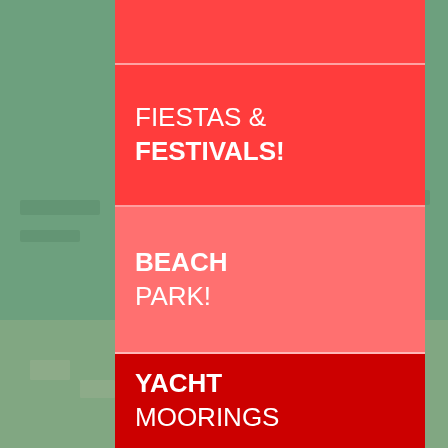[Figure (photo): Aerial view of a coastal area with green trees, waterfront, and residential neighborhood visible on the sides, serving as background.]
FIESTAS & FESTIVALS!
BEACH PARK!
YACHT MOORINGS